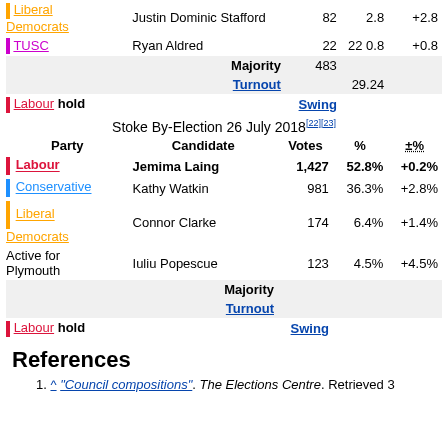| Party | Candidate | Votes | % | ±% |
| --- | --- | --- | --- | --- |
| Liberal Democrats | Justin Dominic Stafford | 82 | 2.8 | +2.8 |
| TUSC | Ryan Aldred | 22 | 0.8 | +0.8 |
| Majority |  | 483 |  |  |
| Turnout |  |  | 29.24 |  |
| Labour hold |  | Swing |  |  |
Stoke By-Election 26 July 2018[22][23]
| Party | Candidate | Votes | % | ±% |
| --- | --- | --- | --- | --- |
| Labour | Jemima Laing | 1,427 | 52.8% | +0.2% |
| Conservative | Kathy Watkin | 981 | 36.3% | +2.8% |
| Liberal Democrats | Connor Clarke | 174 | 6.4% | +1.4% |
| Active for Plymouth | Iuliu Popescue | 123 | 4.5% | +4.5% |
| Majority |  |  |  |  |
| Turnout |  |  |  |  |
| Labour hold |  | Swing |  |  |
References
1. ^ "Council compositions". The Elections Centre. Retrieved 3 May 2018.